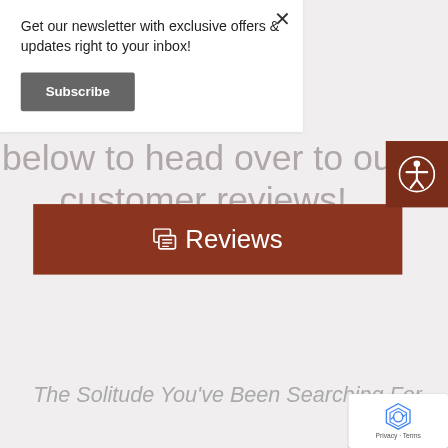Get our newsletter with exclusive offers & updates right to your inbox!
Subscribe
below to head over to our customer reviews!
Reviews
The Solitude You've Been Searching For